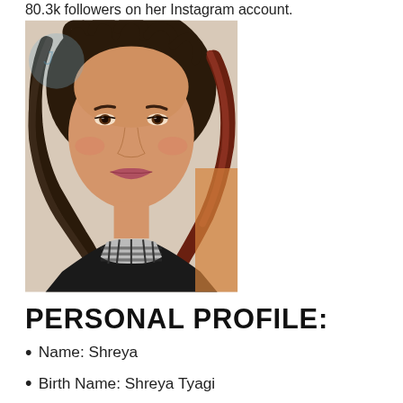80.3k followers on her Instagram account.
[Figure (photo): Portrait photo of a young woman with curly dark hair, wearing a black top and checkered scarf/collar, smiling at the camera.]
PERSONAL PROFILE:
Name: Shreya
Birth Name: Shreya Tyagi